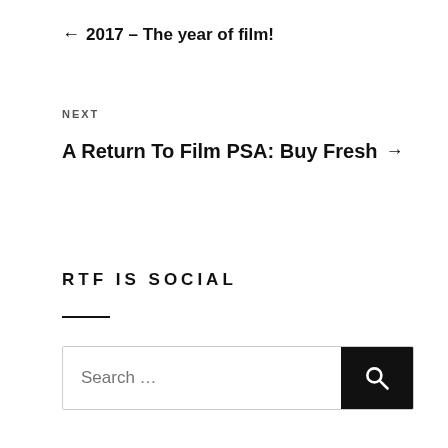← 2017 – The year of film!
NEXT
A Return To Film PSA: Buy Fresh →
RTF IS SOCIAL
—